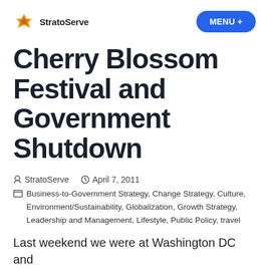StratoServe  MENU +
Cherry Blossom Festival and Government Shutdown
StratoServe  April 7, 2011
Business-to-Government Strategy, Change Strategy, Culture, Environment/Sustainability, Globalization, Growth Strategy, Leadership and Management, Lifestyle, Public Policy, travel
Last weekend we were at Washington DC and